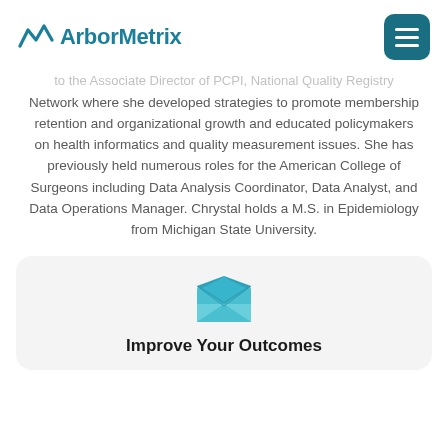ArborMetrix
to the Associate Director of PCPI, National Quality Registry Network where she developed strategies to promote membership retention and organizational growth and educated policymakers on health informatics and quality measurement issues. She has previously held numerous roles for the American College of Surgeons including Data Analysis Coordinator, Data Analyst, and Data Operations Manager. Chrystal holds a M.S. in Epidemiology from Michigan State University.
[Figure (illustration): Teal/blue open envelope icon for a newsletter or contact card section]
Improve Your Outcomes